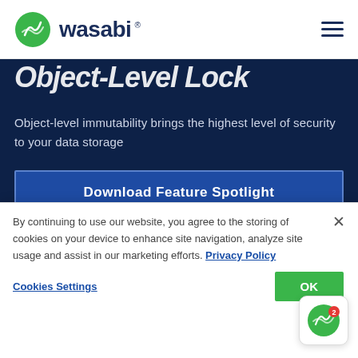[Figure (logo): Wasabi logo: green circle with leaf/mountain icon and 'wasabi' wordmark in dark navy blue]
Object-level immutability brings the highest level of security to your data storage
Download Feature Spotlight
By continuing to use our website, you agree to the storing of cookies on your device to enhance site navigation, analyze site usage and assist in our marketing efforts. Privacy Policy
Cookies Settings
OK